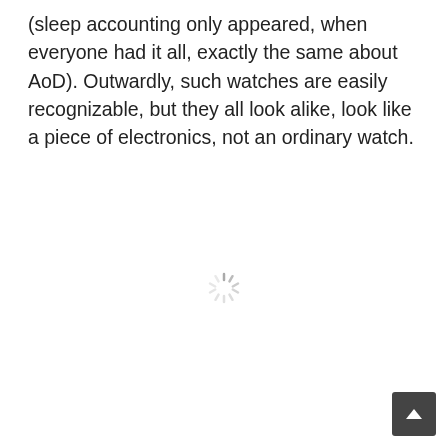(sleep accounting only appeared, when everyone had it all, exactly the same about AoD). Outwardly, such watches are easily recognizable, but they all look alike, look like a piece of electronics, not an ordinary watch.
[Figure (other): Loading spinner icon (animated loading indicator) centered on the page]